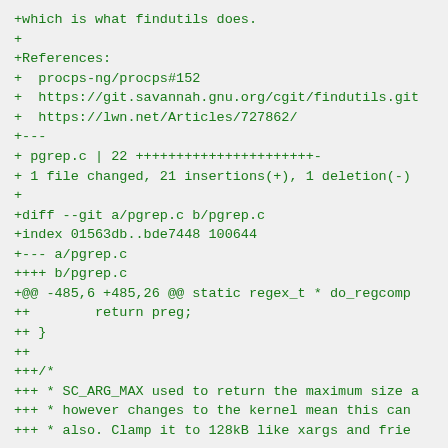+which is what findutils does.
+
+References:
+  procps-ng/procps#152
+  https://git.savannah.gnu.org/cgit/findutils.git
+  https://lwn.net/Articles/727862/
+---
+ pgrep.c | 22 ++++++++++++++++++++++-
+ 1 file changed, 21 insertions(+), 1 deletion(-)
+
+diff --git a/pgrep.c b/pgrep.c
+index 01563db..bde7448 100644
+--- a/pgrep.c
++++ b/pgrep.c
+@@ -485,6 +485,26 @@ static regex_t * do_regcomp
++        return preg;
++ }
++
+++/*
+++ * SC_ARG_MAX used to return the maximum size a
+++ * however changes to the kernel mean this can
+++ * also. Clamp it to 128kB like xargs and frie